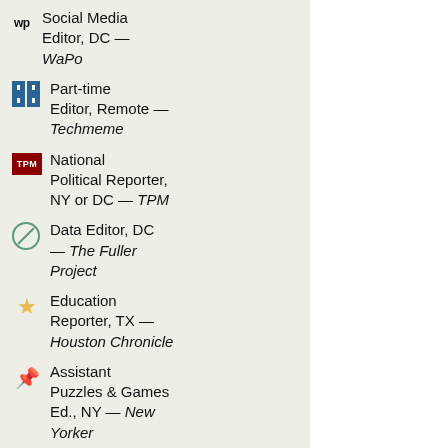Social Media Editor, DC — WaPo
Part-time Editor, Remote — Techmeme
National Political Reporter, NY or DC — TPM
Data Editor, DC — The Fuller Project
Education Reporter, TX — Houston Chronicle
Assistant Puzzles & Games Ed., NY — New Yorker
Europe Editor, London — Financial Times
Home Page Editor, NY